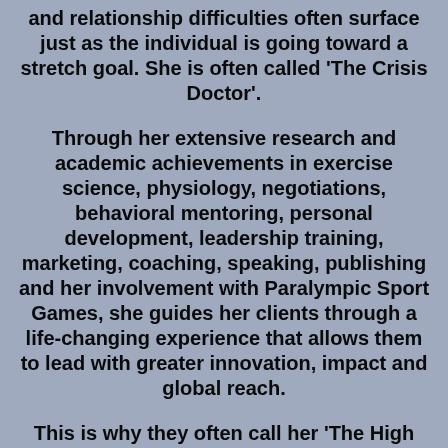and relationship difficulties often surface just as the individual is going toward a stretch goal. She is often called 'The Crisis Doctor'.
Through her extensive research and academic achievements in exercise science, physiology, negotiations, behavioral mentoring, personal development, leadership training, marketing, coaching, speaking, publishing and her involvement with Paralympic Sport Games, she guides her clients through a life-changing experience that allows them to lead with greater innovation, impact and global reach.
This is why they often call her 'The High Performance Whisperer' as she can see through the boxes and connect the missing details that cost you the 'Gold' within less than 60 minutes.